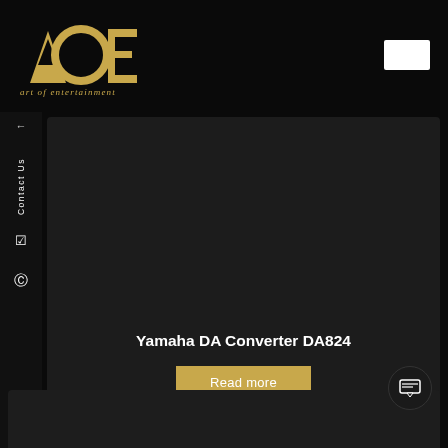[Figure (logo): AOE Art of Entertainment logo in gold with tagline 'art of entertainment' in italic below]
←
Contact Us
Yamaha DA Converter DA824
Read more